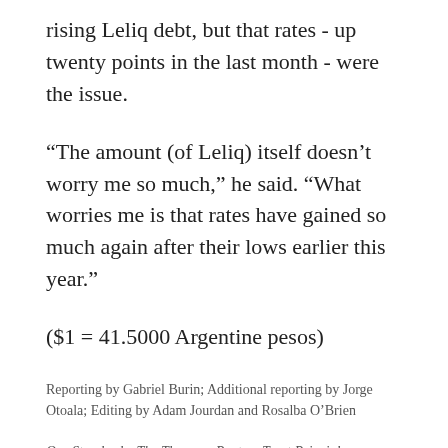rising Leliq debt, but that rates - up twenty points in the last month - were the issue.
“The amount (of Leliq) itself doesn’t worry me so much,” he said. “What worries me is that rates have gained so much again after their lows earlier this year.”
($1 = 41.5000 Argentine pesos)
Reporting by Gabriel Burin; Additional reporting by Jorge Otoala; Editing by Adam Jourdan and Rosalba O’Brien
Our Standards: The Thomson Reuters Trust Principles.
REUTERS NEWS NOW
Subscribe to our daily curated newsletter to receive the latest